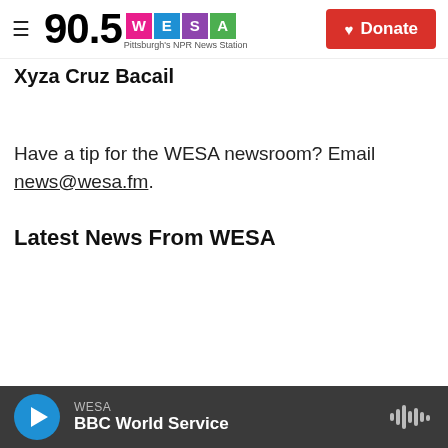90.5 WESA Pittsburgh's NPR News Station | Donate
Xyza Cruz Bacail
Have a tip for the WESA newsroom? Email news@wesa.fm.
Latest News From WESA
WESA BBC World Service